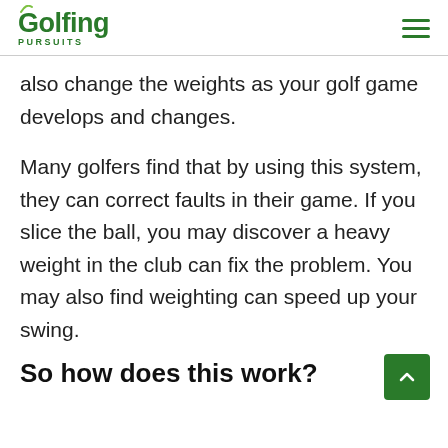Golfing Pursuits
also change the weights as your golf game develops and changes.
Many golfers find that by using this system, they can correct faults in their game. If you slice the ball, you may discover a heavy weight in the club can fix the problem. You may also find weighting can speed up your swing.
So how does this work?